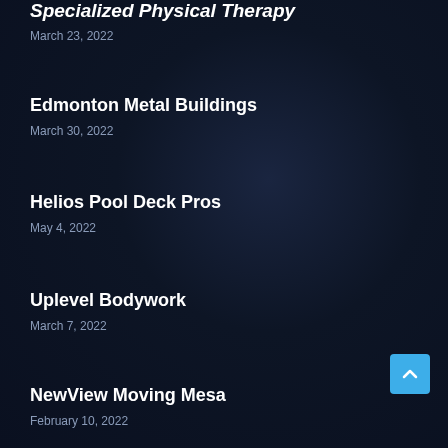Specialized Physical Therapy
March 23, 2022
Edmonton Metal Buildings
March 30, 2022
Helios Pool Deck Pros
May 4, 2022
Uplevel Bodywork
March 7, 2022
NewView Moving Mesa
February 10, 2022
Scottsdale Awning Service